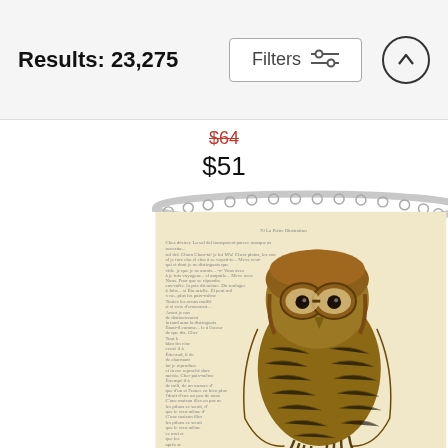Results: 23,275
Filters
$64 (strikethrough) $51
[Figure (photo): A shower curtain featuring an illustration of an owl wearing aviator goggles and a leather helmet, printed on a vintage French book page background. The curtain is shown hanging on a curved rod with metal rings.]